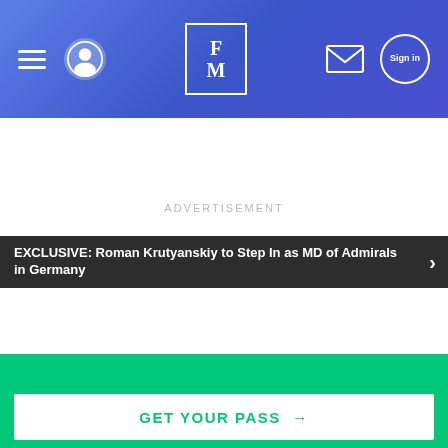[Figure (screenshot): Website header with blue gradient background, hamburger menu, avatar icon, FM logo box, mail icon, and sign-in circle button]
EXCLUSIVE: Roman Krutyanskiy to Step In as MD of Admirals in Germany
ADVERTISEMENT
Comments  Community  🔒 Privacy Policy  1  Login ▾
♡ Favorite   Sort by Best ▾
ANNOUNCEMENT: The online registration for The London Summit that will take place from the 21st to the 23rd of November is now open!
GET YOUR PASS →